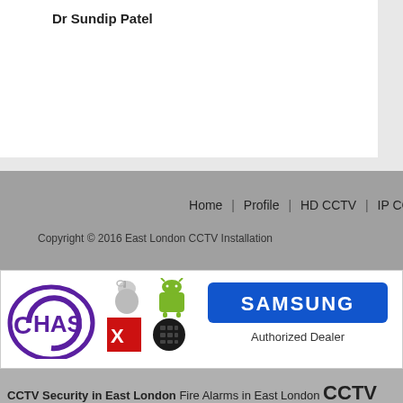Dr Sundip Patel
Home | Profile | HD CCTV | IP CCTV | Biomet…
Copyright © 2016 East London CCTV Installation
[Figure (logo): Banner with CHAS logo, Apple logo, Android logo, Norton logo, BlackBerry logo, Samsung Authorized Dealer logo]
CCTV Security in East London Fire Alarms in East London CCTV Lo & HD CCTV in East London CCTV Maintenance in E East London Perimeter Security in East London Monitoring Alarms in East London Integrated Systems in East London CCTV Sy Systems London in East London Industrial CCT